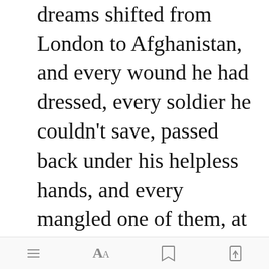dreams shifted from London to Afghanistan, and every wound he had dressed, every soldier he couldn't save, passed back under his helpless hands, and every mangled one of them, at some point during his fruitless efforts, morphed into the likeness of Sherlock.

He woke from one such dream just before dawn on [Open in app] y, and spent most of the at lea in the ill
[menu] [Aa] [bookmark] [share]